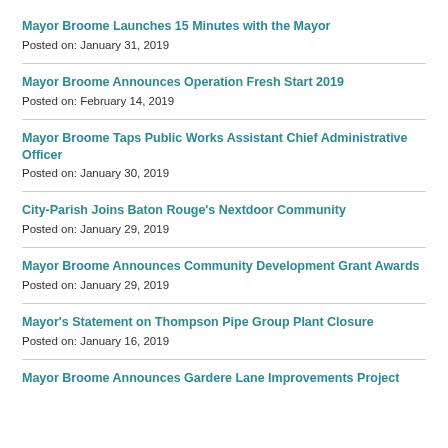Mayor Broome Launches 15 Minutes with the Mayor
Posted on: January 31, 2019
Mayor Broome Announces Operation Fresh Start 2019
Posted on: February 14, 2019
Mayor Broome Taps Public Works Assistant Chief Administrative Officer
Posted on: January 30, 2019
City-Parish Joins Baton Rouge's Nextdoor Community
Posted on: January 29, 2019
Mayor Broome Announces Community Development Grant Awards
Posted on: January 29, 2019
Mayor's Statement on Thompson Pipe Group Plant Closure
Posted on: January 16, 2019
Mayor Broome Announces Gardere Lane Improvements Project